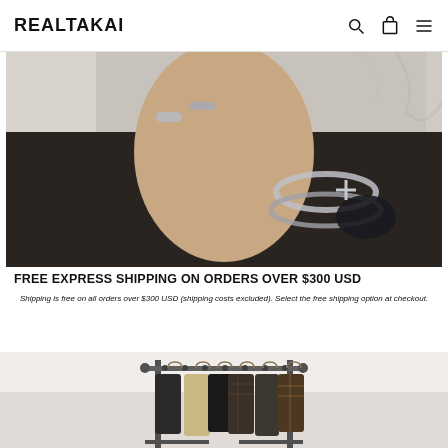REALTAKAI
[Figure (photo): Close-up photo of a hand wearing silver rings and chain bracelets including a cross/star charm bracelet, against a dark jacket and marble background]
FREE EXPRESS SHIPPING ON ORDERS OVER $300 USD
Shipping is free on all orders over $300 USD (shipping costs excluded). Select the free shipping option at checkout.
[Figure (photo): Photo of clothing hanging on a metal rack with various garments including plaid and neutral colored pieces]